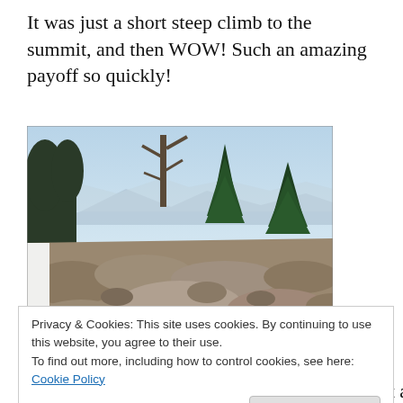It was just a short steep climb to the summit, and then WOW!  Such an amazing payoff so quickly!
[Figure (photo): Rocky mountain summit trail with evergreen trees and distant mountain views under a hazy sky. Rocky terrain in foreground with sparse conifer trees framing the summit view.]
Privacy & Cookies: This site uses cookies. By continuing to use this website, you agree to their use.
To find out more, including how to control cookies, see here: Cookie Policy
[Close and accept]
hike back down was crowded    and it was just around